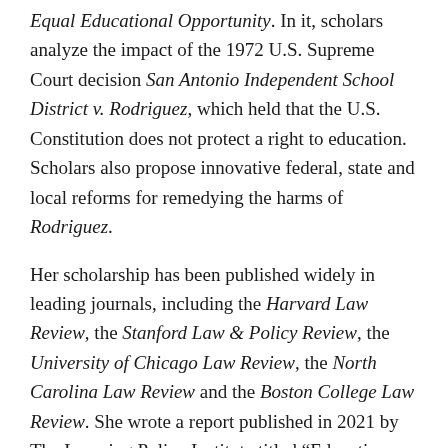Equal Educational Opportunity. In it, scholars analyze the impact of the 1972 U.S. Supreme Court decision San Antonio Independent School District v. Rodriguez, which held that the U.S. Constitution does not protect a right to education. Scholars also propose innovative federal, state and local reforms for remedying the harms of Rodriguez.
Her scholarship has been published widely in leading journals, including the Harvard Law Review, the Stanford Law & Policy Review, the University of Chicago Law Review, the North Carolina Law Review and the Boston College Law Review. She wrote a report published in 2021 by The Learning Policy Institute titled “Education as a Civil Right: Remedying Race-Discrimination and Ensuring a High-Quality Education.” This report analyzes how both federal and state laws fail to protect education as a civil right and recommends how such laws could be reformed to accomplish this goal. In 2022, the Harvard